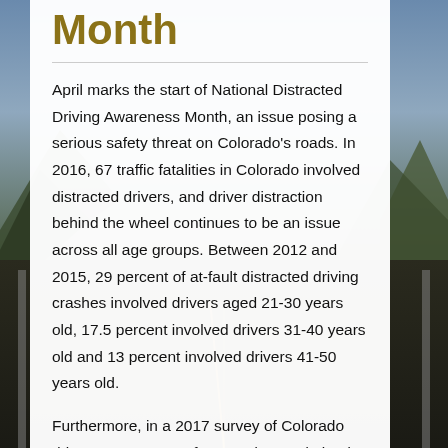Month
April marks the start of National Distracted Driving Awareness Month, an issue posing a serious safety threat on Colorado's roads. In 2016, 67 traffic fatalities in Colorado involved distracted drivers, and driver distraction behind the wheel continues to be an issue across all age groups. Between 2012 and 2015, 29 percent of at-fault distracted driving crashes involved drivers aged 21-30 years old, 17.5 percent involved drivers 31-40 years old and 13 percent involved drivers 41-50 years old.
Furthermore, in a 2017 survey of Colorado drivers, 58 percent of respondents admitted to being distracted by some form of entertainment